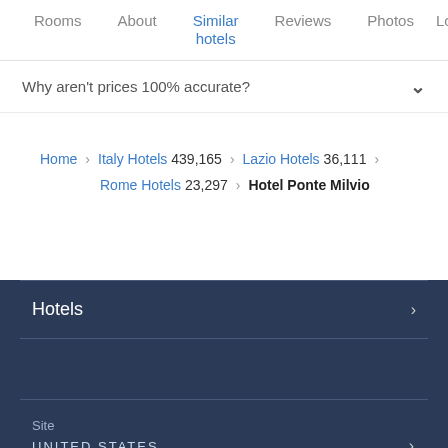Rooms | About | Similar hotels | Reviews | Photos | Loca…
Why aren't prices 100% accurate?
Home › Italy Hotels 439,165 › Lazio Hotels 36,111 › Rome Hotels 23,297 › Hotel Ponte Milvio
Hotels
Site
UNITED STATES